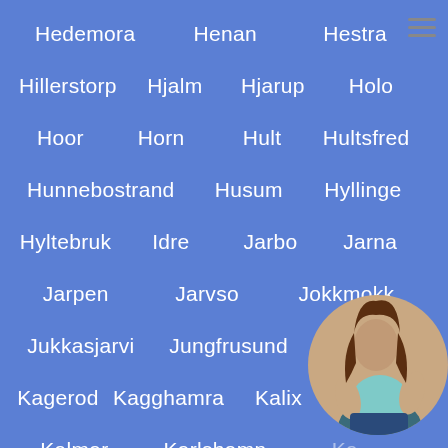Hedemora
Henan
Hestra
Hillerstorp
Hjalm
Hjarup
Holo
Hoor
Horn
Hult
Hultsfred
Hunnebostrand
Husum
Hyllinge
Hyltebruk
Idre
Jarbo
Jarna
Jarpen
Jarvso
Jokkmokk
Jukkasjarvi
Jungfrusund
Junsele
Kagerod
Kagghamra
Kalix
Kallby
Kalmar
Karlshamn
Karlskrona
Karlstad
Kaylinge
Kilafors
Kisa
[Figure (photo): Circular photo of a woman with long brown hair wearing a teal top and denim shorts, viewed from behind, positioned in the bottom-right corner]